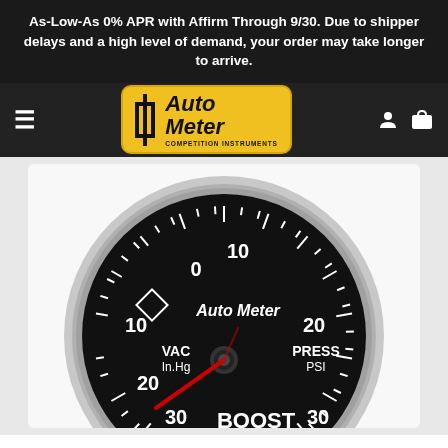As-Low-As 0% APR with Affirm Through 9/30. Due to shipper delays and a high level of demand, your order may take longer to arrive.
[Figure (logo): Auto Meter Competition Instruments logo on yellow background]
[Figure (photo): Auto Meter boost/vacuum gauge with black face showing VAC In.Hg on the left (0-30), PRESS PSI on the right (0-30), red needle pointing to vacuum range, and BOOST label at bottom.]